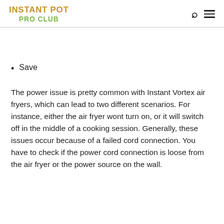INSTANT POT PRO CLUB
Save
The power issue is pretty common with Instant Vortex air fryers, which can lead to two different scenarios. For instance, either the air fryer wont turn on, or it will switch off in the middle of a cooking session. Generally, these issues occur because of a failed cord connection. You have to check if the power cord connection is loose from the air fryer or the power source on the wall.